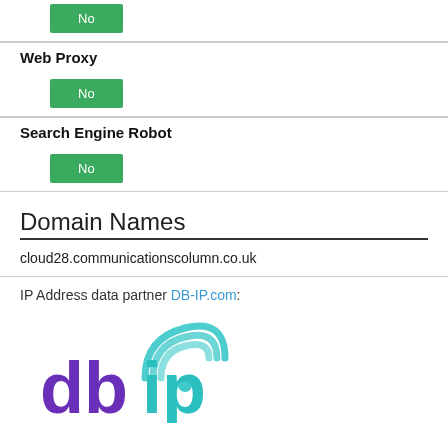No
Web Proxy
No
Search Engine Robot
No
Domain Names
cloud28.communicationscolumn.co.uk
IP Address data partner DB-IP.com:
[Figure (logo): DB-IP.com logo showing 'dbip' text in purple and teal colors with wifi signal icon]